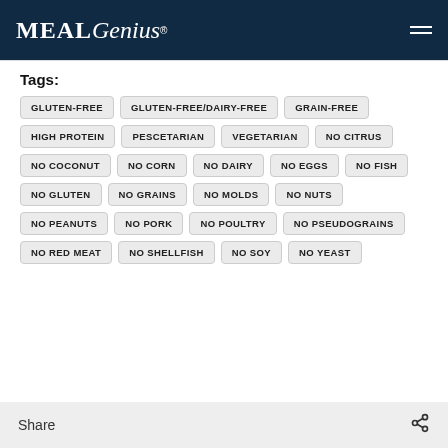[Figure (logo): MealGenius logo with hamburger menu on dark navy header]
Tags:
GLUTEN-FREE
GLUTEN-FREE/DAIRY-FREE
GRAIN-FREE
HIGH PROTEIN
PESCETARIAN
VEGETARIAN
NO CITRUS
NO COCONUT
NO CORN
NO DAIRY
NO EGGS
NO FISH
NO GLUTEN
NO GRAINS
NO MOLDS
NO NUTS
NO PEANUTS
NO PORK
NO POULTRY
NO PSEUDOGRAINS
NO RED MEAT
NO SHELLFISH
NO SOY
NO YEAST
Share